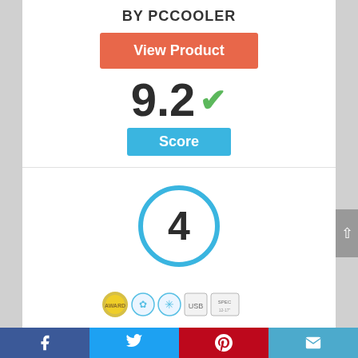BY PCCOOLER
View Product
9.2 ✓
Score
[Figure (other): Rank badge circle with number 4 inside, blue border]
[Figure (other): Product feature icons strip and product image (laptop cooler)]
Facebook | Twitter | Pinterest | Email social share bar